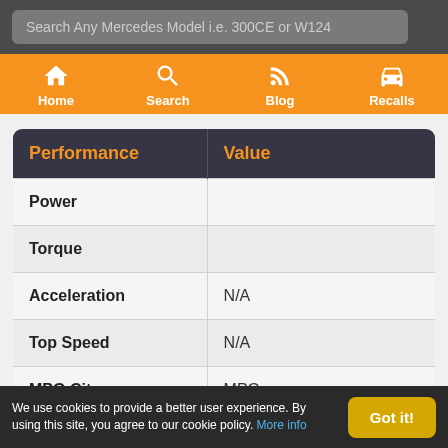Search Any Mercedes Model i.e. 300CE or W124
Home | Search | Blog | Recalls
| Performance | Value |
| --- | --- |
| Power |  |
| Torque |  |
| Acceleration | N/A |
| Top Speed | N/A |
| MPG City | MPG |
| MPG Motorway | MPG |
We use cookies to provide a better user experience. By using this site, you agree to our cookie policy. More info